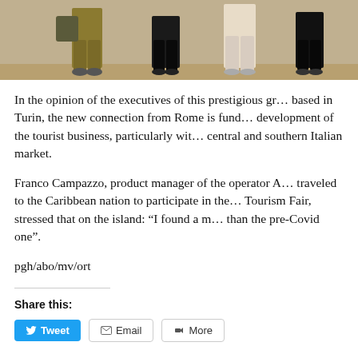[Figure (photo): Partial view of people standing, showing lower bodies/legs from waist down, outdoors setting]
In the opinion of the executives of this prestigious gr… based in Turin, the new connection from Rome is fund… development of the tourist business, particularly wit… central and southern Italian market.
Franco Campazzo, product manager of the operator A… traveled to the Caribbean nation to participate in the… Tourism Fair, stressed that on the island: “I found a m… than the pre-Covid one”.
pgh/abo/mv/ort
Share this: